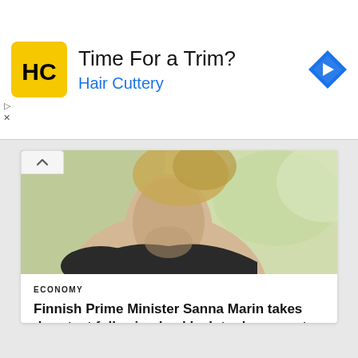[Figure (infographic): Hair Cuttery advertisement banner with yellow square logo showing HC initials, text 'Time For a Trim?' and 'Hair Cuttery' in blue, blue diamond navigation icon on right, play and close controls on left]
[Figure (photo): Photo of a woman with blonde hair pulled back, wearing black, photographed from neck/shoulder area up against a blurred green outdoor background]
ECONOMY
Finnish Prime Minister Sanna Marin takes drug test following backlash to dance-party video
Businesshala - August 20, 2022